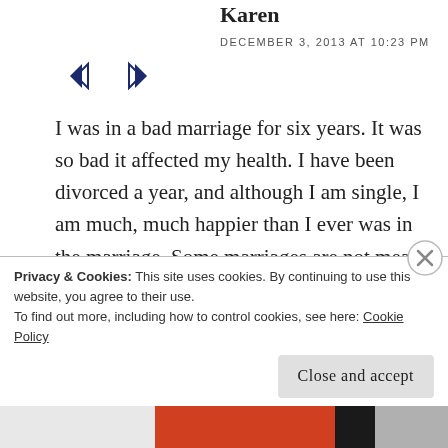Karen
DECEMBER 3, 2013 AT 10:23 PM
I was in a bad marriage for six years. It was so bad it affected my health. I have been divorced a year, and although I am single, I am much, much happier than I ever was in the marriage. Some marriages are not meant to be, no matter how much you want them to work. In all honesty, I married in haste and for the wrong reasons, I should never have married him in the first place. The marriage started to sour from the honeymoon onwards,but I stuck it out despite the
Privacy & Cookies: This site uses cookies. By continuing to use this website, you agree to their use.
To find out more, including how to control cookies, see here: Cookie Policy
Close and accept